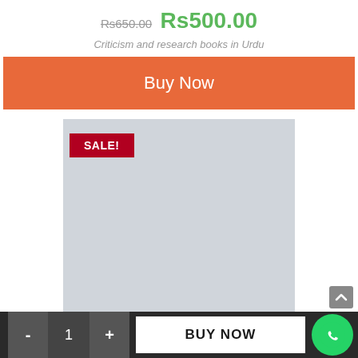Rs650.00  Rs500.00
Criticism and research books in Urdu
Buy Now
[Figure (other): Product image placeholder — large grey rectangle with a red SALE! badge in the top-left corner]
- 1 + BUY NOW